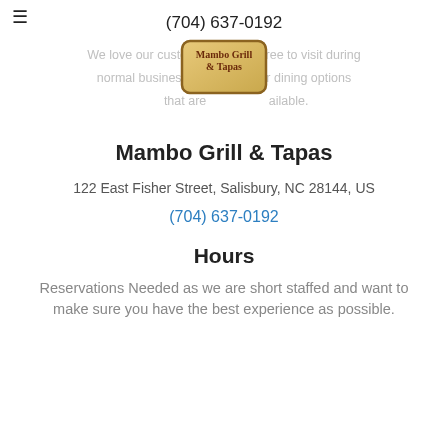(704) 637-0192
We love our customers, so feel free to visit during normal business hours or follow for dining options that are currently available.
[Figure (logo): Mambo Grill & Tapas logo on a parchment-style badge]
Mambo Grill & Tapas
122 East Fisher Street, Salisbury, NC 28144, US
(704) 637-0192
Hours
Reservations Needed as we are short staffed and want to make sure you have the best experience as possible.